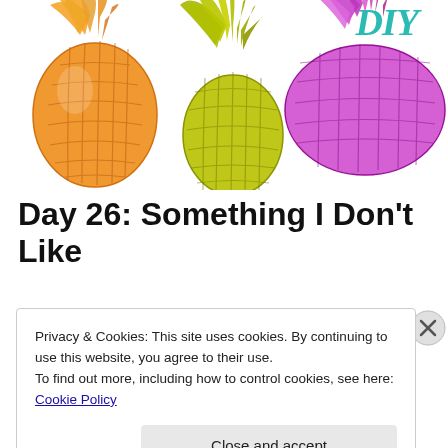[Figure (illustration): Three decorative pineapple illustrations in orange, yellow-green, and purple/magenta colors against white background. A partial teal cursive script is visible in the top right corner.]
Day 26: Something I Don't Like
Privacy & Cookies: This site uses cookies. By continuing to use this website, you agree to their use.
To find out more, including how to control cookies, see here: Cookie Policy
Close and accept